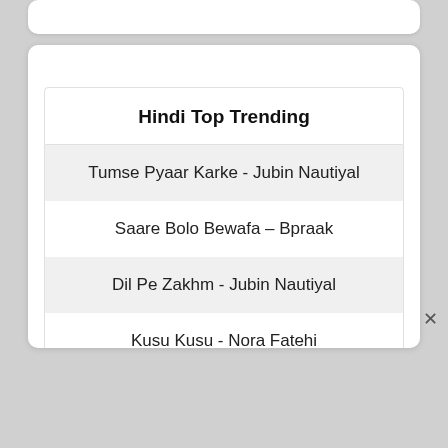Hindi Top Trending
Tumse Pyaar Karke - Jubin Nautiyal
Saare Bolo Bewafa – Bpraak
Dil Pe Zakhm - Jubin Nautiyal
Kusu Kusu - Nora Fatehi
Desh Mere - Arijit Singh
Aashiqui Aa Gayi - Arijit Singh